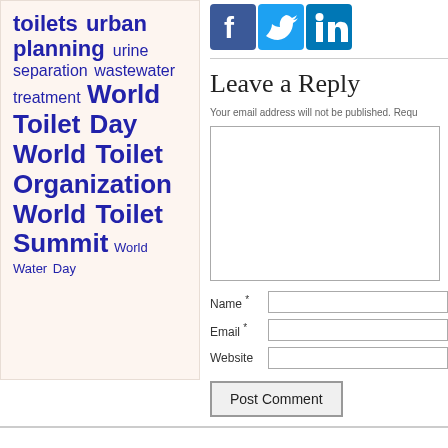toilets urban planning urine separation wastewater treatment World Toilet Day World Toilet Organization World Toilet Summit World Water Day
[Figure (logo): Social media icons: Facebook, Twitter, LinkedIn]
Leave a Reply
Your email address will not be published. Requ...
Name * [input field]
Email * [input field]
Website [input field]
Post Comment